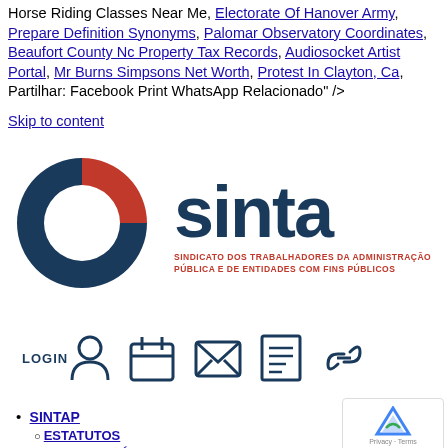Horse Riding Classes Near Me, Electorate Of Hanover Army, Prepare Definition Synonyms, Palomar Observatory Coordinates, Beaufort County Nc Property Tax Records, Audiosocket Artist Portal, Mr Burns Simpsons Net Worth, Protest In Clayton, Ca, Partilhar: Facebook Print WhatsApp Relacionado" />
Skip to content
[Figure (logo): SINTAP logo with circular red and dark blue emblem on left, large dark blue 'sinta' text in center, subtitle 'SINDICATO DOS TRABALHADORES DA ADMINISTRAÇÃO PÚBLICA E DE ENTIDADES COM FINS PÚBLICOS' in red below]
[Figure (infographic): Navigation icon row: LOGIN with person icon, calendar icon, envelope/mail icon, document icon, chain-link icon]
SINTAP
ESTATUTOS
DATAS HISTÓRICAS
ÓRGÃOS